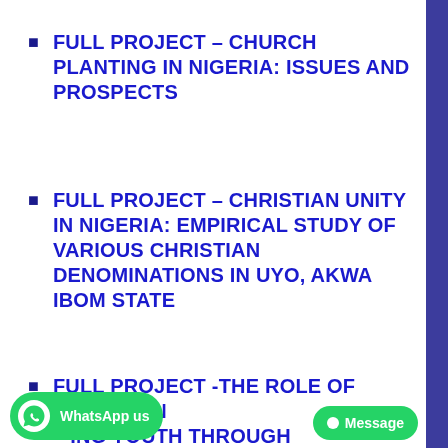FULL PROJECT – CHURCH PLANTING IN NIGERIA: ISSUES AND PROSPECTS
FULL PROJECT – CHRISTIAN UNITY IN NIGERIA: EMPIRICAL STUDY OF VARIOUS CHRISTIAN DENOMINATIONS IN UYO, AKWA IBOM STATE
FULL PROJECT -THE ROLE OF CHURCH IN [...]ING YOUTH THROUGH ENTREPRENEURIAL ACTIVITIES AND